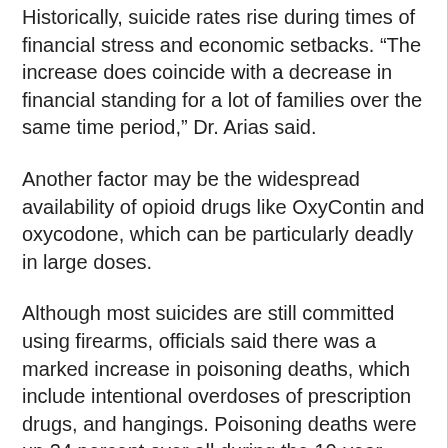Historically, suicide rates rise during times of financial stress and economic setbacks. “The increase does coincide with a decrease in financial standing for a lot of families over the same time period,” Dr. Arias said.
Another factor may be the widespread availability of opioid drugs like OxyContin and oxycodone, which can be particularly deadly in large doses.
Although most suicides are still committed using firearms, officials said there was a marked increase in poisoning deaths, which include intentional overdoses of prescription drugs, and hangings. Poisoning deaths were up 24 percent over all during the 10-year period and hangings were up 81 percent.